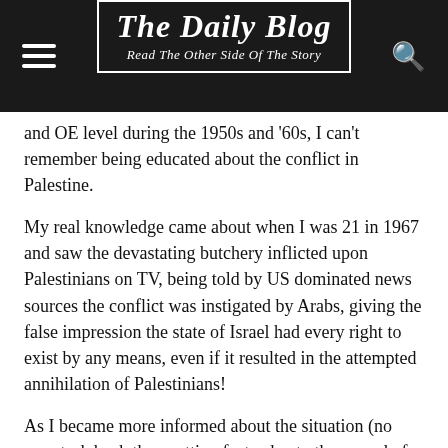The Daily Blog — Read The Other Side Of The Story
and OE level during the 1950s and '60s, I can't remember being educated about the conflict in Palestine.
My real knowledge came about when I was 21 in 1967 and saw the devastating butchery inflicted upon Palestinians on TV, being told by US dominated news sources the conflict was instigated by Arabs, giving the false impression the state of Israel had every right to exist by any means, even if it resulted in the attempted annihilation of Palestinians!
As I became more informed about the situation (no easy task back then getting facts, due to the spread of propaganda re Israel), like yourself, I formed by own opinions of the issue and realised what Israel was doing was akin to terrorism, with total disregard for the consequences of its